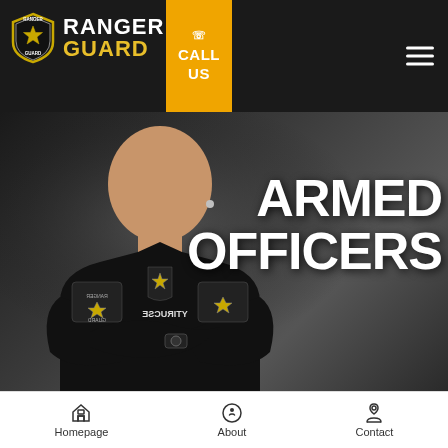Ranger Guard — CALL US — Navigation
[Figure (photo): A male security officer in a black Ranger Guard uniform with arms crossed, appearing confident, set against a dark background. Text overlay reads ARMED OFFICERS in large white bold letters.]
ARMED OFFICERS
Homepage  About  Contact